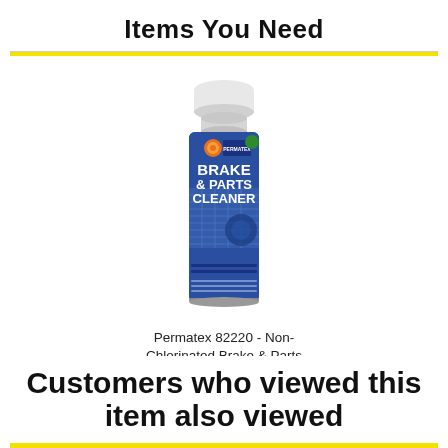Items You Need
[Figure (photo): Permatex 82220 Non-Chlorinated Brake & Parts Cleaner spray can, blue label with white cap]
Permatex 82220 - Non-Chlorinated Brake & Parts Cleaner 20oz...
$11.99
Customers who viewed this item also viewed